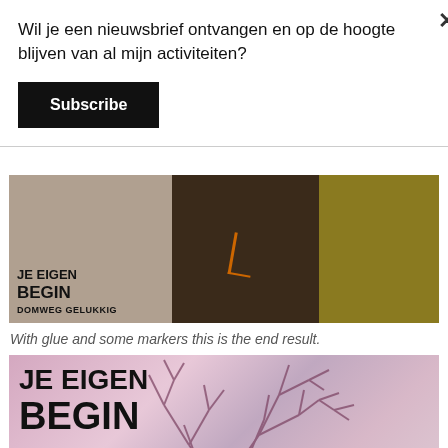Wil je een nieuwsbrief ontvangen en op de hoogte blijven van al mijn activiteiten?
Subscribe
[Figure (photo): Three-panel image strip showing book covers and nature photographs with text 'JE EIGEN BEGIN' and 'DOMWEG GELUKKIG']
With glue and some markers this is the end result.
[Figure (photo): Close-up photo of a book cover titled 'JE EIGEN BEGIN' with a tree illustration in pink/purple tones and subtitle 'BORN TO EARTH']